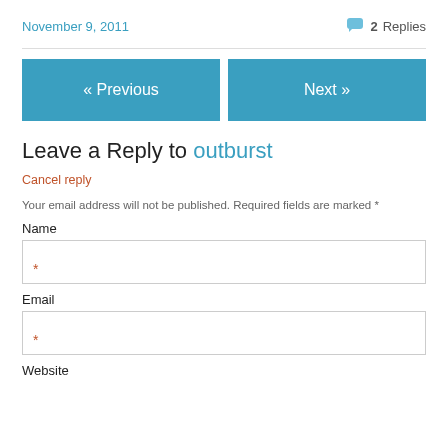November 9, 2011
2 Replies
« Previous
Next »
Leave a Reply to outburst
Cancel reply
Your email address will not be published. Required fields are marked *
Name
Email
Website